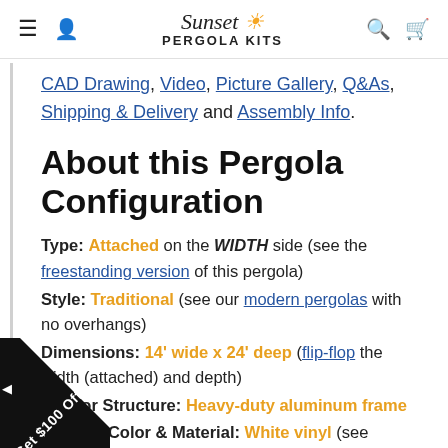Sunset Pergola Kits
CAD Drawing, Video, Picture Gallery, Q&As, Shipping & Delivery and Assembly Info.
About this Pergola Configuration
Type: Attached on the WIDTH side (see the freestanding version of this pergola)
Style: Traditional (see our modern pergolas with no overhangs)
Dimensions: 14' wide x 24' deep (flip-flop the width (attached) and depth)
Interior Structure: Heavy-duty aluminum frame
Exterior Color & Material: White vinyl (see ...